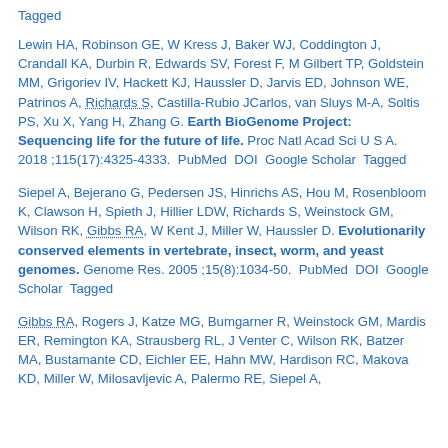Tagged
Lewin HA, Robinson GE, W Kress J, Baker WJ, Coddington J, Crandall KA, Durbin R, Edwards SV, Forest F, M Gilbert TP, Goldstein MM, Grigoriev IV, Hackett KJ, Haussler D, Jarvis ED, Johnson WE, Patrinos A, Richards S, Castilla-Rubio JCarlos, van Sluys M-A, Soltis PS, Xu X, Yang H, Zhang G. Earth BioGenome Project: Sequencing life for the future of life. Proc Natl Acad Sci U S A. 2018 ;115(17):4325-4333.  PubMed  DOI  Google Scholar  Tagged
Siepel A, Bejerano G, Pedersen JS, Hinrichs AS, Hou M, Rosenbloom K, Clawson H, Spieth J, Hillier LDW, Richards S, Weinstock GM, Wilson RK, Gibbs RA, W Kent J, Miller W, Haussler D. Evolutionarily conserved elements in vertebrate, insect, worm, and yeast genomes. Genome Res. 2005 ;15(8):1034-50.  PubMed  DOI  Google Scholar  Tagged
Gibbs RA, Rogers J, Katze MG, Bumgarner R, Weinstock GM, Mardis ER, Remington KA, Strausberg RL, J Venter C, Wilson RK, Batzer MA, Bustamante CD, Eichler EE, Hahn MW, Hardison RC, Makova KD, Miller W, Milosavljevic A, Palermo RE, Siepel A,